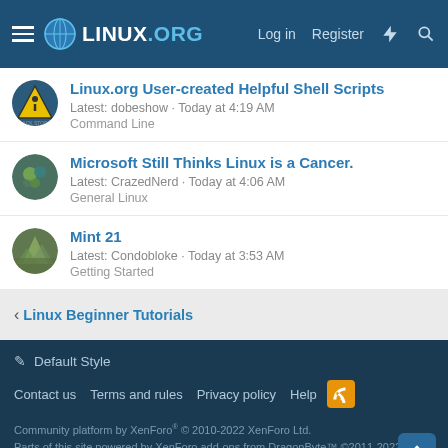LINUX.ORG — Log in  Register
Linux.org User-created Helpful Shell Scripts
Latest: dobeshow · Today at 4:19 AM
Command Line
Microsoft Still Thinks Linux is a Cancer.
Latest: CrazedNerd · Today at 4:06 AM
General Linux
Mint 21
Latest: Condobloke · Today at 3:53 AM
Getting Started
< Linux Beginner Tutorials
✎ Default Style
Contact us   Terms and rules   Privacy policy   Help  [RSS]
Community platform by XenForo® © 2010-2022 XenForo Ltd.
Parts of this site powered by XenForo add-ons from DragonByte™ ©2011-2022 DragonByte Technologies Ltd. (Details)